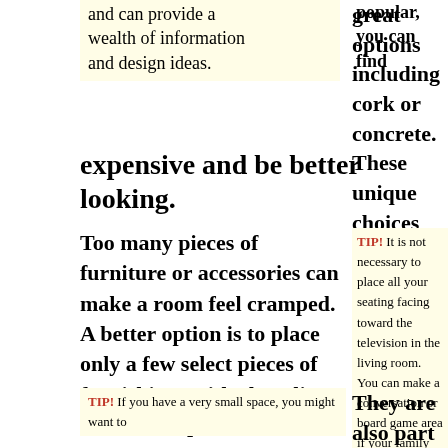and can provide a wealth of information and design ideas.
popular, you can find great options including cork or concrete. These unique choices can be less expensive and be better looking.
Too many pieces of furniture or accessories can make a room feel cramped. A better option is to place only a few select pieces of furnishings with clean lines; these free up additional space.
TIP! It is not necessary to place all your seating facing toward the television in the living room. You can make a conversation or board game area if your family room is large enough.
TIP! If you have a very small space, you might want to
They are also part of your